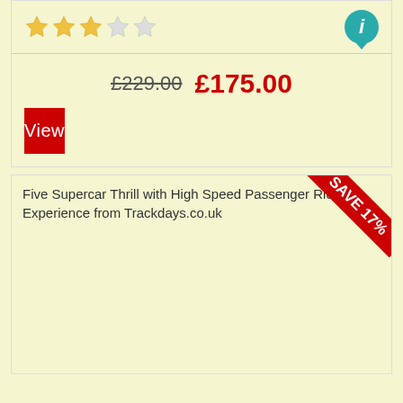[Figure (other): Star rating: 3 out of 5 stars (3 gold, 2 grey) with a teal info button on the right]
£229.00  £175.00
View
[Figure (other): Product image placeholder: Five Supercar Thrill with High Speed Passenger Ride Experience from Trackdays.co.uk, with a red SAVE 17% diagonal ribbon badge in the top-right corner]